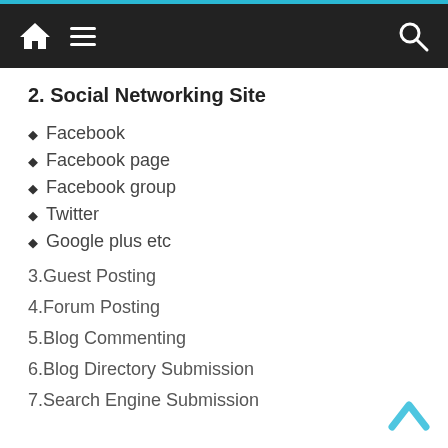Navigation bar with home, menu, and search icons
2. Social Networking Site
Facebook
Facebook page
Facebook group
Twitter
Google plus etc
3.Guest Posting
4.Forum Posting
5.Blog Commenting
6.Blog Directory Submission
7.Search Engine Submission